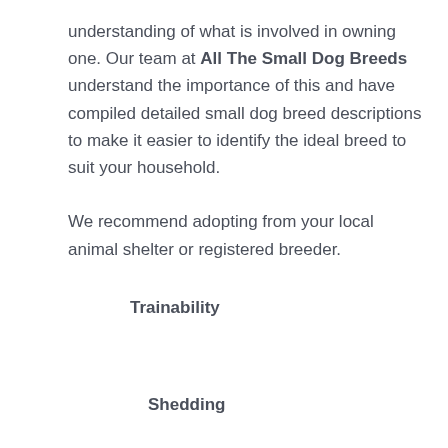understanding of what is involved in owning one. Our team at All The Small Dog Breeds understand the importance of this and have compiled detailed small dog breed descriptions to make it easier to identify the ideal breed to suit your household.
We recommend adopting from your local animal shelter or registered breeder.
Trainability
Shedding